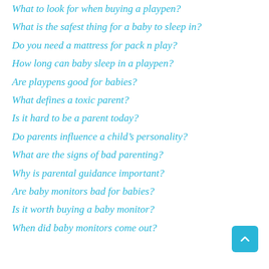What to look for when buying a playpen?
What is the safest thing for a baby to sleep in?
Do you need a mattress for pack n play?
How long can baby sleep in a playpen?
Are playpens good for babies?
What defines a toxic parent?
Is it hard to be a parent today?
Do parents influence a child's personality?
What are the signs of bad parenting?
Why is parental guidance important?
Are baby monitors bad for babies?
Is it worth buying a baby monitor?
When did baby monitors come out?